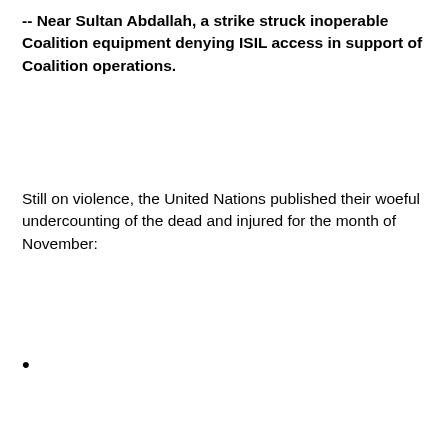-- Near Sultan Abdallah, a strike struck inoperable Coalition equipment denying ISIL access in support of Coalition operations.
Still on violence, the United Nations published their woeful undercounting of the dead and injured for the month of November: